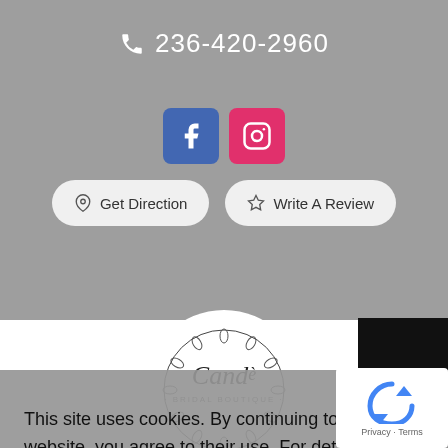236-420-2960
[Figure (screenshot): Facebook and Instagram social media icons]
Get Direction
Write A Review
[Figure (logo): Candè Bridal Boutique circular logo with botanical wreath design]
0
This site uses cookies. By continuing to use this website, you agree to their use. For details, please check our
Got it
[Figure (other): reCAPTCHA widget with Privacy and Terms links]